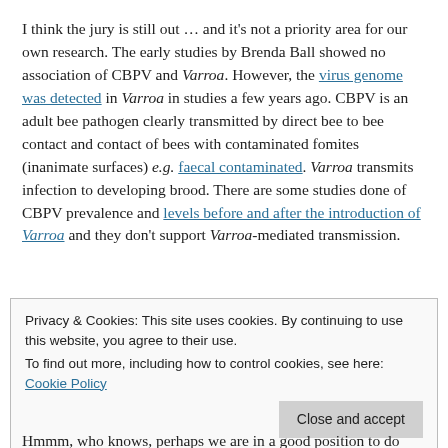I think the jury is still out … and it's not a priority area for our own research. The early studies by Brenda Ball showed no association of CBPV and Varroa. However, the virus genome was detected in Varroa in studies a few years ago. CBPV is an adult bee pathogen clearly transmitted by direct bee to bee contact and contact of bees with contaminated fomites (inanimate surfaces) e.g. faecal contaminated. Varroa transmits infection to developing brood. There are some studies done of CBPV prevalence and levels before and after the introduction of Varroa and they don't support Varroa-mediated transmission.
Privacy & Cookies: This site uses cookies. By continuing to use this website, you agree to their use.
To find out more, including how to control cookies, see here: Cookie Policy
Close and accept
Hmmm, who knows, perhaps we are in a good position to do